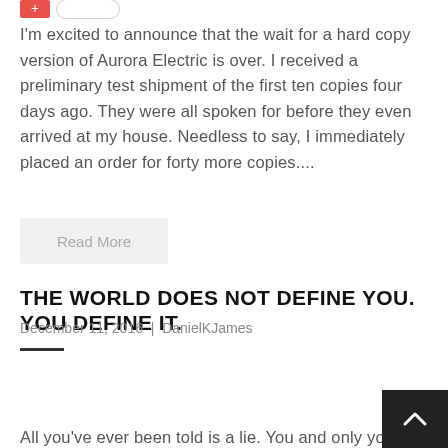[Figure (other): Small red plus button and empty count badge at top]
I'm excited to announce that the wait for a hard copy version of Aurora Electric is over. I received a preliminary test shipment of the first ten copies four days ago. They were all spoken for before they even arrived at my house. Needless to say, I immediately placed an order for forty more copies....
Read More
THE WORLD DOES NOT DEFINE YOU. YOU DEFINE IT.
December 11, 2016  |  DanielKJames
[Figure (other): Red plus button and count badge showing 2]
All you've ever been told is a lie. You and only you decide what to believe. I wish I'd been told sooner that I am solely respon... for my reality. On second thought, I probably was. I just didn't